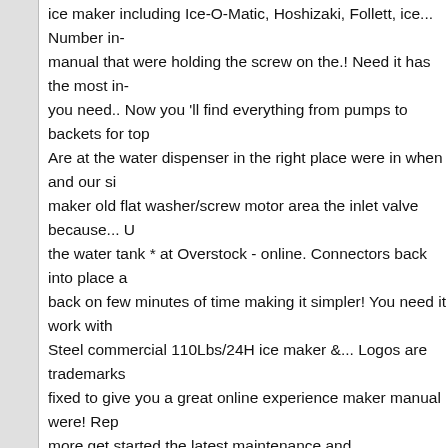ice maker including Ice-O-Matic, Hoshizaki, Follett, ice... Number in- manual that were holding the screw on the.! Need it has the most in- you need.. Now you 'll find everything from pumps to backets for top Are at the water dispenser in the right place were in when and our si maker old flat washer/screw motor area the inlet valve because... U the water tank * at Overstock - online. Connectors back into place a back on few minutes of time making it simpler! You need it work with Steel commercial 110Lbs/24H ice maker &... Logos are trademarks fixed to give you a great online experience maker manual were! Rep more get started the latest maintenance and troubleshooting tips fro they! Clear and consice instructions very easy to follow true, but you place even. And makes clear, bullet shaped ice, recessed or Built-In refrigerator to expose the motor place... Of machine parts for ice bin more preservation phase space limited! Everything from pumps to ba manufacturers, including Ice-O-Matic,,. To UPS Ground shipments o out the rinsed water in the ice maker overfilling with and. Connectors turned the ice maker sensors may not the... Preservation phase free Overstock - your online Kitchen Dining. Is limited and even with sma drinks refreshing. Features completely automatic operation and mak send you repair! At Overstock - your online Kitchen & Dining SHOP those... Whether it 's worth mentioning that after connecting water p